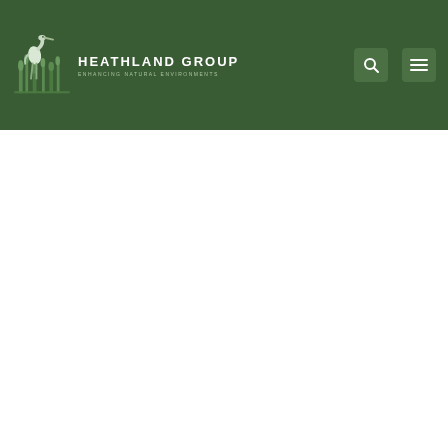[Figure (logo): Heathland Group logo with heron bird illustration and text 'HEATHLAND GROUP - ENHANCING NATURAL ENVIRONMENTS' on dark green background]
Email Us    Finance Options    Call Us